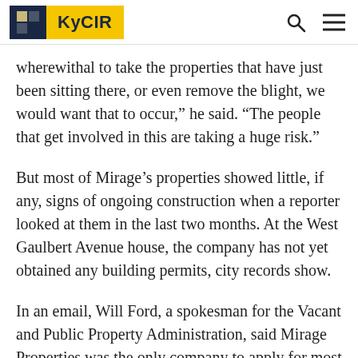KyCIR
wherewithal to take the properties that have just been sitting there, or even remove the blight, we would want that to occur,” he said. “The people that get involved in this are taking a huge risk.”
But most of Mirage’s properties showed little, if any, signs of ongoing construction when a reporter looked at them in the last two months. At the West Gaulbert Avenue house, the company has not yet obtained any building permits, city records show.
In an email, Will Ford, a spokesman for the Vacant and Public Property Administration, said Mirage Properties was the only company to apply for most